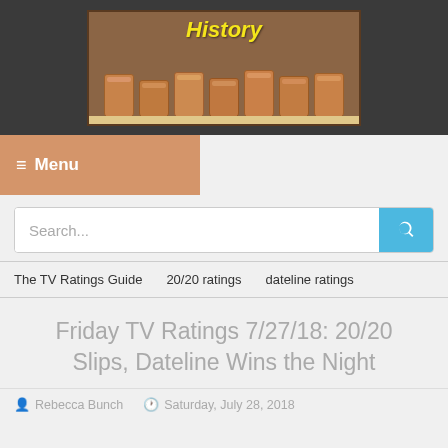[Figure (photo): Website header image showing old clay pots/jars on a shelf with the word 'History' written in yellow italic script, set against a dark background.]
≡ Menu
Search...
The TV Ratings Guide
20/20 ratings
dateline ratings
Friday TV Ratings 7/27/18: 20/20 Slips, Dateline Wins the Night
Rebecca Bunch    Saturday, July 28, 2018